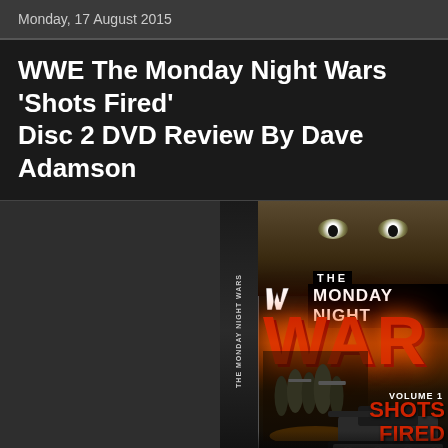Monday, 17 August 2015
WWE The Monday Night Wars 'Shots Fired' Disc 2 DVD Review By Dave Adamson
[Figure (photo): DVD cover of WWE The Monday Night Wars Volume 1: Shots Fired, showing the title in fiery letters with soldiers/wrestlers in the foreground and a DVD spine on the left side.]